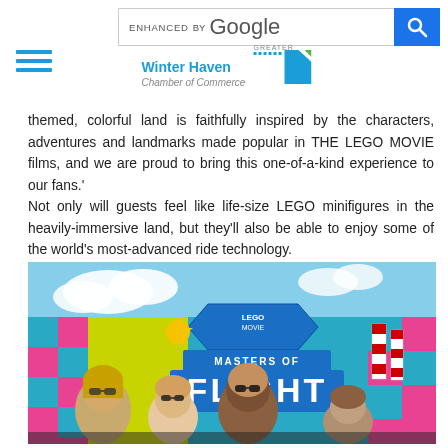ENHANCED BY Google [search bar]
[Figure (logo): Greater Winter Haven Chamber of Commerce logo with blue wave graphic]
themed, colorful land is faithfully inspired by the characters, adventures and landmarks made popular in THE LEGO MOVIE films, and we are proud to bring this one-of-a-kind experience to our fans.' Not only will guests feel like life-size LEGO minifigures in the heavily-immersive land, but they'll also be able to enjoy some of the world's most-advanced ride technology.
[Figure (photo): Photo of people standing in front of LEGO Movie World Masters of Flight ride entrance, with colorful LEGO-themed signage and blue sky with clouds in background]